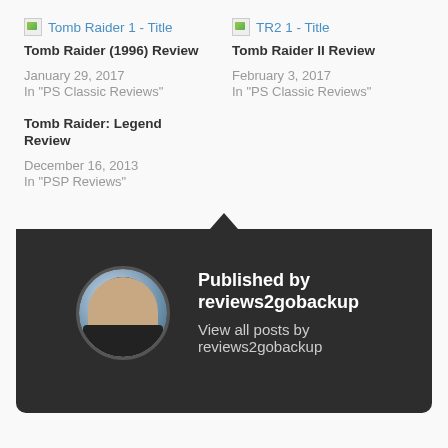[Figure (screenshot): Broken thumbnail image for Tomb Raider 1 post]
Tomb Raider 1 - Title
Tomb Raider (1996) Review
January 29, 2017
In "PS Classic Reviews"
[Figure (screenshot): Broken thumbnail image for TR2 1 post]
TR2 1 - Title
Tomb Raider II Review
February 3, 2017
In "PS Classic Reviews"
Tomb Raider: Legend Review
December 16, 2013
In "PSP Reviews"
[Figure (photo): Author profile photo of reviews2gobackup – man in dark jacket]
Published by reviews2gobackup
View all posts by reviews2gobackup